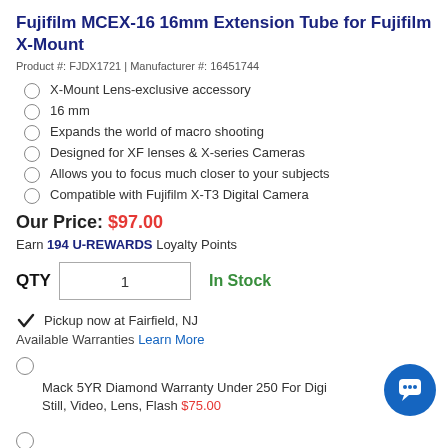Fujifilm MCEX-16 16mm Extension Tube for Fujifilm X-Mount
Product #: FJDX1721 | Manufacturer #: 16451744
X-Mount Lens-exclusive accessory
16 mm
Expands the world of macro shooting
Designed for XF lenses & X-series Cameras
Allows you to focus much closer to your subjects
Compatible with Fujifilm X-T3 Digital Camera
Our Price: $97.00
Earn 194 U-REWARDS Loyalty Points
QTY 1   In Stock
Pickup now at Fairfield, NJ
Available Warranties Learn More
Mack 5YR Diamond Warranty Under 250 For Digi Still, Video, Lens, Flash $75.00